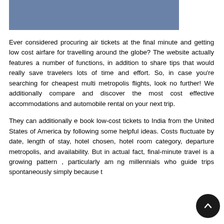[Figure (other): Blue/steel-blue rectangular banner image at the top of the page]
Ever considered procuring air tickets at the final minute and getting low cost airfare for travelling around the globe? The website actually features a number of functions, in addition to share tips that would really save travelers lots of time and effort. So, in case you're searching for cheapest multi metropolis flights, look no further! We additionally compare and discover the most cost effective accommodations and automobile rental on your next trip.
They can additionally e book low-cost tickets to India from the United States of America by following some helpful ideas. Costs fluctuate by date, length of stay, hotel chosen, hotel room category, departure metropolis, and availability. But in actual fact, final-minute travel is a growing pattern , particularly among millennials who guide trips spontaneously simply because they right to...